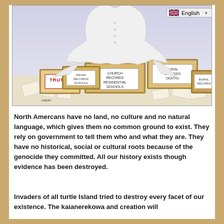[Figure (illustration): A political cartoon showing a white-robed figure (resembling a ghost or KKK figure) standing atop a pile of stacked boxes/records labeled 'TRUTH', 'CHURCH RECORDS RESIDENTIAL SCHOOLS', 'BURIAL GROUNDS DEATHS', and other partially visible labels. Papers and documents are scattered around the base. Artist signature visible at bottom left.]
North Amercans have no land, no culture and no natural language, which gives them no common ground to exist. They rely on government to tell them who and what they are. They have no historical, social or cultural roots because of the genocide they committed. All our history exists though evidence has been destroyed.
Invaders of all turtle Island tried to destroy every facet of our existence. The kaianerekowa and creation will